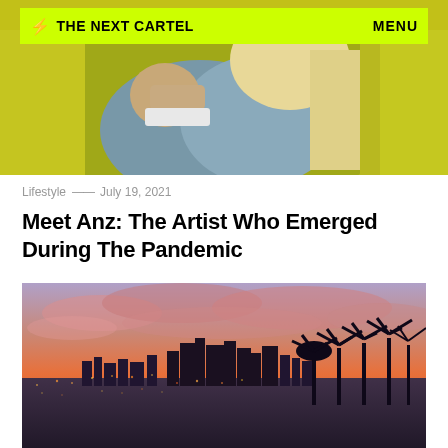[Figure (photo): Hero photo showing a person with blonde hair wearing a denim jacket, posing against a yellow-green background, with a website navigation bar overlay at the top.]
⚡ THE NEXT CARTEL   MENU
Lifestyle — July 19, 2021
Meet Anz: The Artist Who Emerged During The Pandemic
[Figure (photo): Cityscape photo of Los Angeles at sunset/dusk showing the downtown skyline silhouetted against a dramatic orange and pink sky, with palm trees in the foreground and city lights below.]